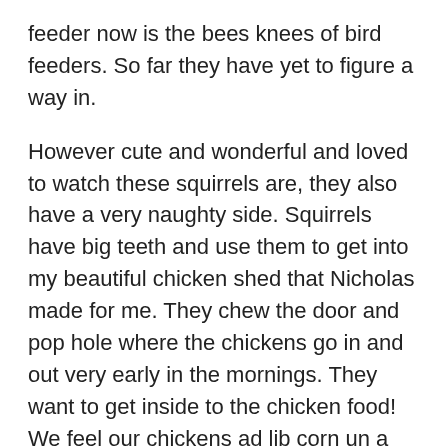feeder now is the bees knees of bird feeders. So far they have yet to figure a way in.
However cute and wonderful and loved to watch these squirrels are, they also have a very naughty side. Squirrels have big teeth and use them to get into my beautiful chicken shed that Nicholas made for me. They chew the door and pop hole where the chickens go in and out very early in the mornings. They want to get inside to the chicken food! We feel our chickens ad lib corn un a lovely large feeder. this means the chickens can go in and eat as much as they want, when ever they want. The problem is the squirrels have a habit of going in there too and i don't seem to have yet found a way to stopping them. If I'm not careful they steal the chickens eggs too!
Having said all of that, however, i do it to do a part for...